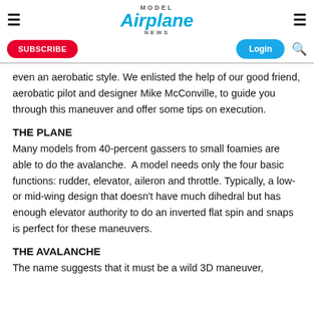Model Airplane News
even an aerobatic style. We enlisted the help of our good friend, aerobatic pilot and designer Mike McConville, to guide you through this maneuver and offer some tips on execution.
THE PLANE
Many models from 40-percent gassers to small foamies are able to do the avalanche.  A model needs only the four basic functions: rudder, elevator, aileron and throttle. Typically, a low- or mid-wing design that doesn't have much dihedral but has enough elevator authority to do an inverted flat spin and snaps is perfect for these maneuvers.
THE AVALANCHE
The name suggests that it must be a wild 3D maneuver,